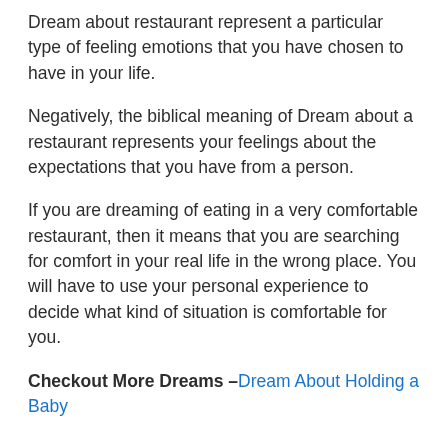Dream about restaurant represent a particular type of feeling emotions that you have chosen to have in your life.
Negatively, the biblical meaning of Dream about a restaurant represents your feelings about the expectations that you have from a person.
If you are dreaming of eating in a very comfortable restaurant, then it means that you are searching for comfort in your real life in the wrong place. You will have to use your personal experience to decide what kind of situation is comfortable for you.
Checkout More Dreams – Dream About Holding a Baby